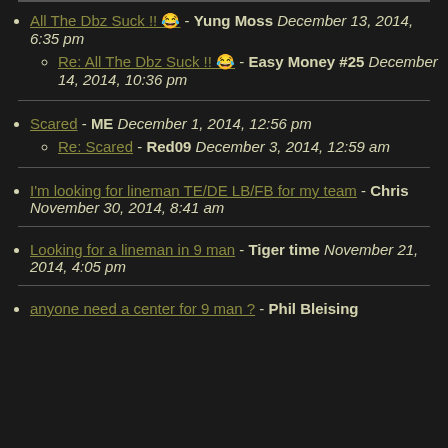All The Dbz Suck !! &#128514; - Yung Moss December 13, 2014, 6:35 pm
  Re: All The Dbz Suck !! &#128514; - Easy Money #25 December 14, 2014, 10:36 pm
Scared - ME December 1, 2014, 12:56 pm
  Re: Scared - Red09 December 3, 2014, 12:59 am
I'm looking for lineman TE/DE LB/FB for my team - Chris November 30, 2014, 8:41 am
Looking for a lineman in 9 man - Tiger time November 21, 2014, 4:05 pm
anyone need a center for 9 man ? - Phil Bleising